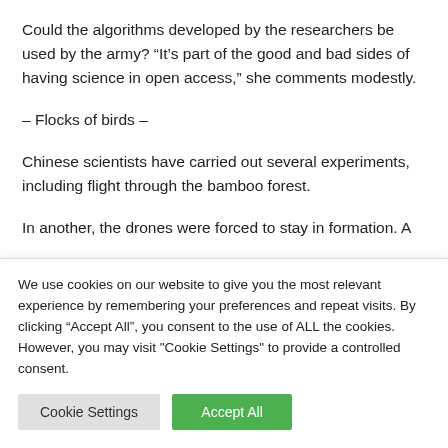Could the algorithms developed by the researchers be used by the army? “It’s part of the good and bad sides of having science in open access,” she comments modestly.
– Flocks of birds –
Chinese scientists have carried out several experiments, including flight through the bamboo forest.
In another, the drones were forced to stay in formation. A
We use cookies on our website to give you the most relevant experience by remembering your preferences and repeat visits. By clicking “Accept All”, you consent to the use of ALL the cookies. However, you may visit “Cookie Settings” to provide a controlled consent.